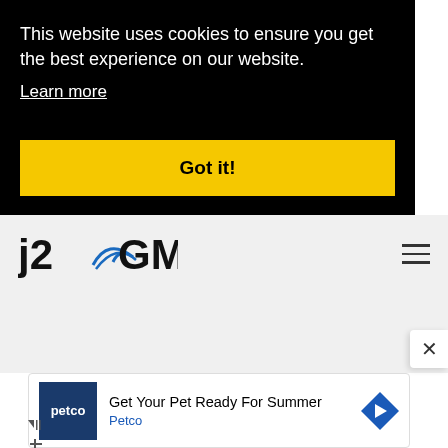This website uses cookies to ensure you get the best experience on our website.
Learn more
Got it!
[Figure (logo): j2CGMN logo with blue swoosh graphic]
[Figure (infographic): Hamburger/menu icon with three horizontal lines]
[Figure (infographic): Close (X) button in white rounded box]
[Figure (infographic): Petco advertisement banner: Get Your Pet Ready For Summer, with Petco logo and navigation arrow icon]